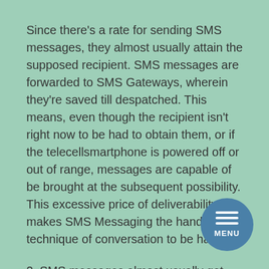Since there's a rate for sending SMS messages, they almost usually attain the supposed recipient. SMS messages are forwarded to SMS Gateways, wherein they're saved till despatched. This means, even though the recipient isn't right now to be had to obtain them, or if the telecellsmartphone is powered off or out of range, messages are capable of be brought at the subsequent possibility. This excessive price of deliverability makes SMS Messaging the handiest technique of conversation to be had.
2. SMS messages almost usually get study through the recipient
There's not anything greater irresistible, than the an in-coming SMS message to the consumer anticipating, perhaps, a non-public message from a friend. This purpose by myself almost usually ensures